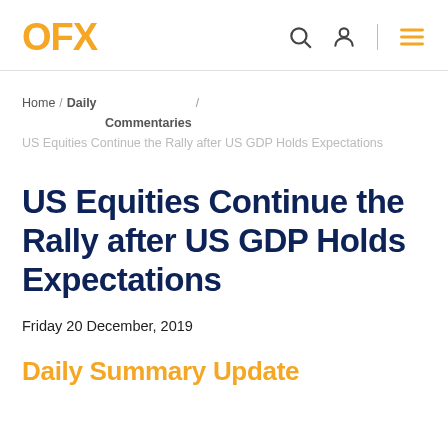OFX
Home / Daily Commentaries / US Equities Continue the Rally after US GDP Holds Expectations
US Equities Continue the Rally after US GDP Holds Expectations
Friday 20 December, 2019
Daily Summary Update